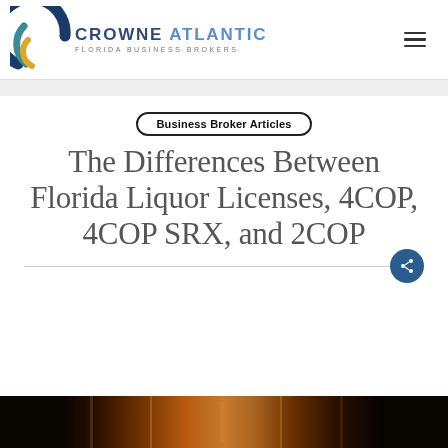[Figure (logo): Crowne Atlantic Florida Business Brokers logo with circular swirl graphic in blue, teal, and gold]
Business Broker Articles
The Differences Between Florida Liquor Licenses, 4COP, 4COP SRX, and 2COP
[Figure (photo): Bar or nightclub scene with colorful lighting, bottles visible in background]